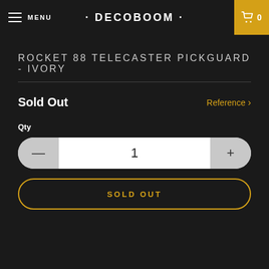MENU · DECOBOOM · 0
ROCKET 88 TELECASTER PICKGUARD - IVORY
Sold Out
Reference >
Qty
1
SOLD OUT